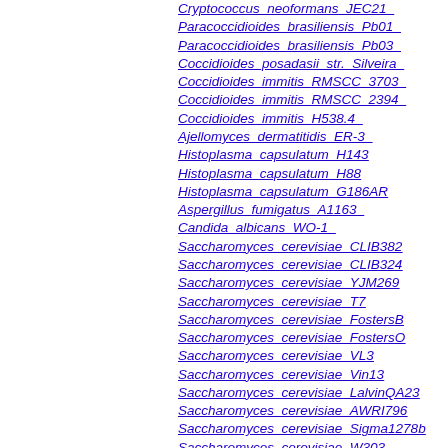Cryptococcus_neoformans_JEC21_
Paracoccidioides_brasiliensis_Pb01_
Paracoccidioides_brasiliensis_Pb03_
Coccidioides_posadasii_str._Silveira_
Coccidioides_immitis_RMSCC_3703_
Coccidioides_immitis_RMSCC_2394_
Coccidioides_immitis_H538.4_
Ajellomyces_dermatitidis_ER-3_
Histoplasma_capsulatum_H143
Histoplasma_capsulatum_H88
Histoplasma_capsulatum_G186AR
Aspergillus_fumigatus_A1163_
Candida_albicans_WO-1_
Saccharomyces_cerevisiae_CLIB382
Saccharomyces_cerevisiae_CLIB324
Saccharomyces_cerevisiae_YJM269
Saccharomyces_cerevisiae_T7
Saccharomyces_cerevisiae_FostersB
Saccharomyces_cerevisiae_FostersO
Saccharomyces_cerevisiae_VL3
Saccharomyces_cerevisiae_Vin13
Saccharomyces_cerevisiae_LalvinQA23
Saccharomyces_cerevisiae_AWRI796
Saccharomyces_cerevisiae_Sigma1278b
Saccharomyces_cerevisiae_W303
Saccharomyces_cerevisiae_JAY291
Saccharomyces_cerevisiae_AWRI1631
Saccharomyces_cerevisiae_CLIB215
Saccharomyces_cerevisiae_Y10
Saccharomyces_cerevisiae_YJM789
Saccharomyces_cerevisiae_AWI700_